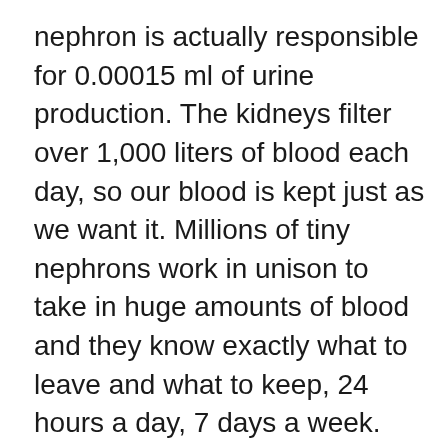nephron is actually responsible for 0.00015 ml of urine production. The kidneys filter over 1,000 liters of blood each day, so our blood is kept just as we want it. Millions of tiny nephrons work in unison to take in huge amounts of blood and they know exactly what to leave and what to keep, 24 hours a day, 7 days a week.
Our blood is our life source. It is the milk of the organs, and our organs would dry up without it. Believe it or not, our organs are quite picky. If they are to receive anything they don't like, they will start acting up. In order to keep the organs happy, the three